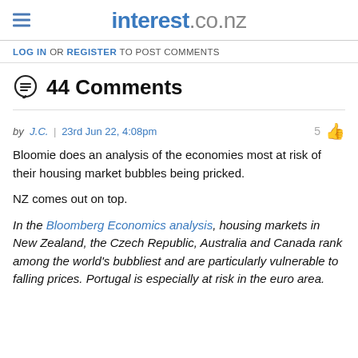interest.co.nz
LOG IN OR REGISTER TO POST COMMENTS
44 Comments
by J.C. | 23rd Jun 22, 4:08pm
Bloomie does an analysis of the economies most at risk of their housing market bubbles being pricked.

NZ comes out on top.

In the Bloomberg Economics analysis, housing markets in New Zealand, the Czech Republic, Australia and Canada rank among the world's bubbliest and are particularly vulnerable to falling prices. Portugal is especially at risk in the euro area.